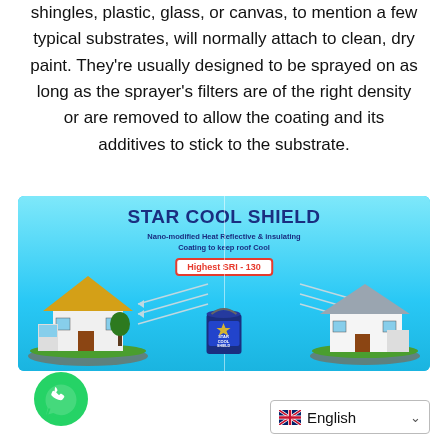shingles, plastic, glass, or canvas, to mention a few typical substrates, will normally attach to clean, dry paint. They're usually designed to be sprayed on as long as the sprayer's filters are of the right density or are removed to allow the coating and its additives to stick to the substrate.
[Figure (illustration): Advertisement banner for 'Star Cool Shield' - Nano-modified Heat Reflective & Insulating Coating to Keep roof Cool. Shows two houses side by side on a cyan/blue background with arrows indicating heat reflection. A paint can labeled 'Star Cool Shield' is in the center. Badge reads 'Highest SRI - 130'.]
[Figure (logo): WhatsApp logo - green circle with white telephone handset icon]
English (language selector dropdown with UK flag)